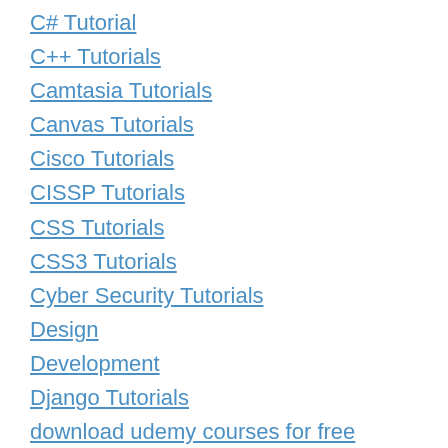C# Tutorial
C++ Tutorials
Camtasia Tutorials
Canvas Tutorials
Cisco Tutorials
CISSP Tutorials
CSS Tutorials
CSS3 Tutorials
Cyber Security Tutorials
Design
Development
Django Tutorials
download udemy courses for free